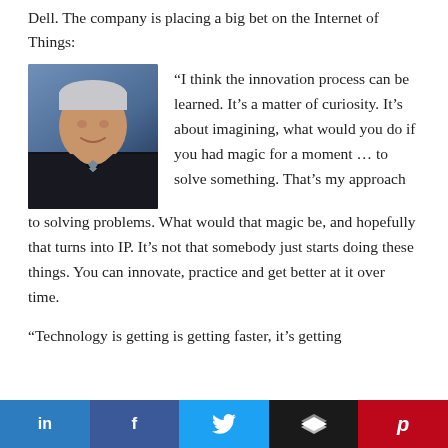Dell. The company is placing a big bet on the Internet of Things:
[Figure (photo): Headshot of a man in a dark suit jacket with light shirt, smiling, against a blue background]
“I think the innovation process can be learned. It’s a matter of curiosity. It’s about imagining, what would you do if you had magic for a moment … to solve something. That’s my approach to solving problems. What would that magic be, and hopefully that turns into IP. It’s not that somebody just starts doing these things. You can innovate, practice and get better at it over time.
“Technology is getting is getting faster, it’s getting
LinkedIn  Facebook  Twitter  Layers  Pinterest